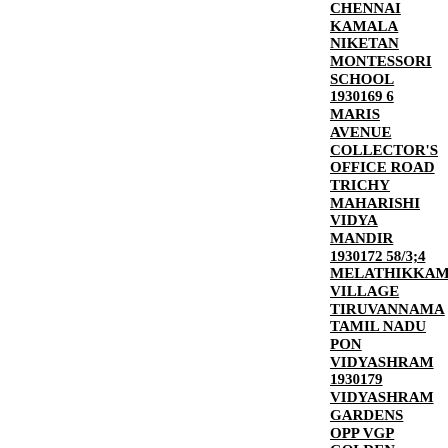CHENNAI
KAMALA NIKETAN MONTESSORI SCHOOL
1930169 6 MARIS AVENUE COLLECTOR'S OFFICE ROAD TRICHY
MAHARISHI VIDYA MANDIR
1930172 58/3;4 MELATHIKKAM VILLAGE TIRUVANNAMALAI TAMIL NADU
PON VIDYASHRAM
1930179 VIDYASHRAM GARDENS OPP VGP GOLDEN